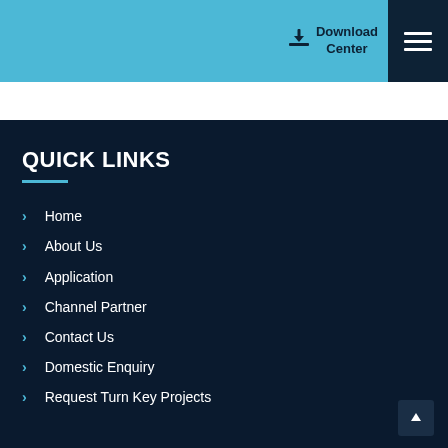Download Center
QUICK LINKS
Home
About Us
Application
Channel Partner
Contact Us
Domestic Enquiry
Request Turn Key Projects